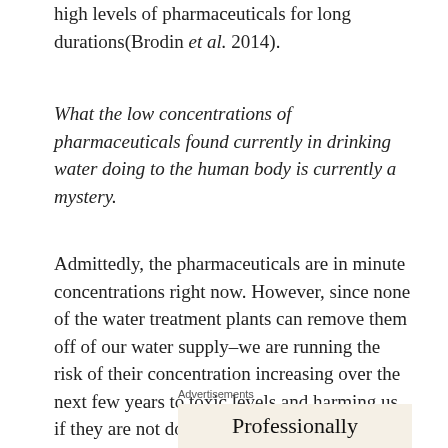high levels of pharmaceuticals for long durations(Brodin et al. 2014).
What the low concentrations of pharmaceuticals found currently in drinking water doing to the human body is currently a mystery.
Admittedly, the pharmaceuticals are in minute concentrations right now. However, since none of the water treatment plants can remove them off of our water supply–we are running the risk of their concentration increasing over the next few years to toxic levels and harming us if they are not doing so already.
Advertisements
Professionally